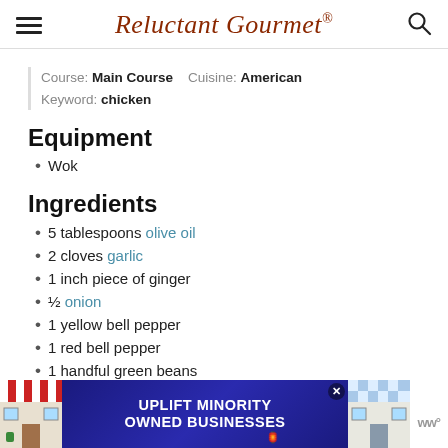Reluctant Gourmet
Course: Main Course    Cuisine: American
Keyword: chicken
Equipment
Wok
Ingredients
5 tablespoons olive oil
2 cloves garlic
1 inch piece of ginger
½ onion
1 yellow bell pepper
1 red bell pepper
1 handful green beans
1 small bunch broccoli heads
[Figure (infographic): Advertisement banner: UPLIFT MINORITY OWNED BUSINESSES with store illustrations on left and right]